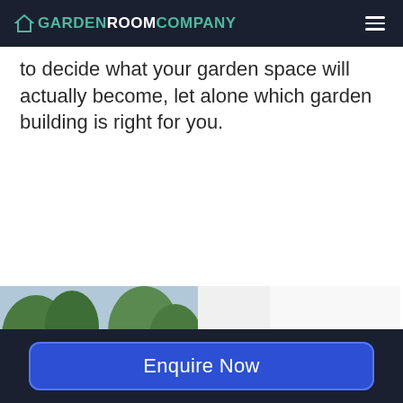GARDENROOMCOMPANY
to decide what your garden space will actually become, let alone which garden building is right for you.
[Figure (photo): Exterior photo of a timber-clad garden room with large glass sliding doors, surrounded by greenery and paving stones.]
[Figure (photo): Interior photo of a finished garden room with white walls, grey laminate flooring, and a light-filled empty space.]
Enquire Now